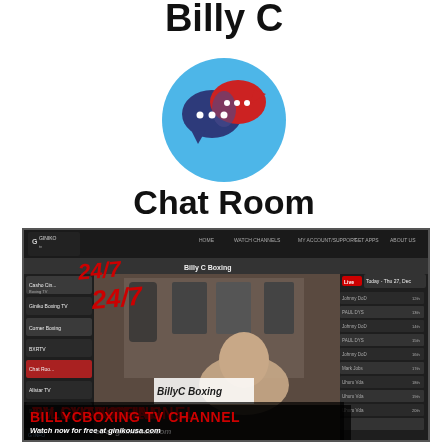Billy C
[Figure (logo): Circular blue chat room logo with two speech bubbles — a dark blue bubble with three white dots on the left and a red bubble with three white dots on the right, overlapping on a light blue circular background]
Chat Room
[Figure (screenshot): Screenshot of the Giniko TV website showing the Billy C Boxing channel page. A man is visible on camera in a room with boxing memorabilia. Red italic '24/7' text overlaid on the left. Bottom overlay text reads 'BILLYCBOXING TV CHANNEL' in red and 'Watch now for free at ginikousa.com' in white.]